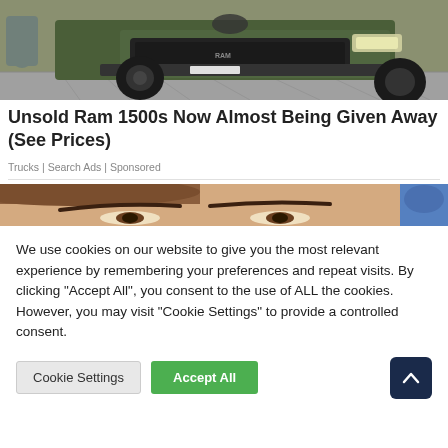[Figure (photo): Front view of a green Ram 1500 truck, close-up of grille and front wheel]
Unsold Ram 1500s Now Almost Being Given Away (See Prices)
Trucks | Search Ads | Sponsored
[Figure (photo): Close-up of a person's eyes and forehead, with a blue-gloved hand visible on the right]
We use cookies on our website to give you the most relevant experience by remembering your preferences and repeat visits. By clicking "Accept All", you consent to the use of ALL the cookies. However, you may visit "Cookie Settings" to provide a controlled consent.
Cookie Settings | Accept All